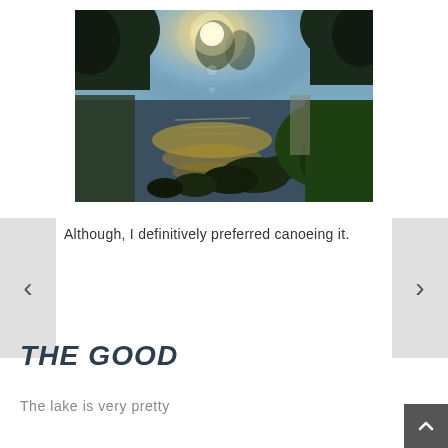[Figure (photo): Outdoor landscape photo of a lake or river at sunset/backlight, with silhouetted trees on both sides, sun glare on the water, and green vegetation on the right bank.]
Although, I definitively preferred canoeing it.
THE GOOD
The lake is very pretty